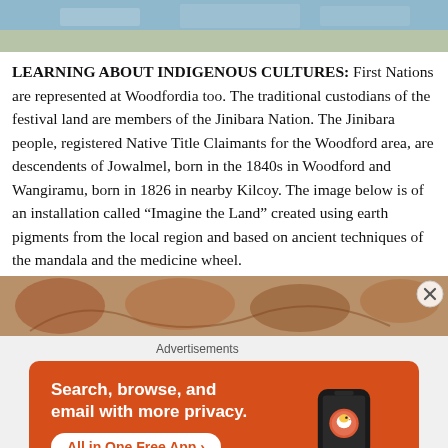[Figure (photo): Top portion of an outdoor photo, appears to show a festival or outdoor scene with blue sky and ground]
LEARNING ABOUT INDIGENOUS CULTURES: First Nations are represented at Woodfordia too. The traditional custodians of the festival land are members of the Jinibara Nation. The Jinibara people, registered Native Title Claimants for the Woodford area, are descendents of Jowalmel, born in the 1840s in Woodford and Wangiramu, born in 1826 in nearby Kilcoy. The image below is of an installation called “Imagine the Land” created using earth pigments from the local region and based on ancient techniques of the mandala and the medicine wheel.
[Figure (photo): Bottom portion of an art installation photo showing earth-pigment mandala/medicine wheel artwork on the ground, warm orange and brown tones]
Advertisements
[Figure (other): DuckDuckGo advertisement banner: Search, browse, and email with more privacy. All in One Free App. Shows DuckDuckGo logo on a phone graphic.]